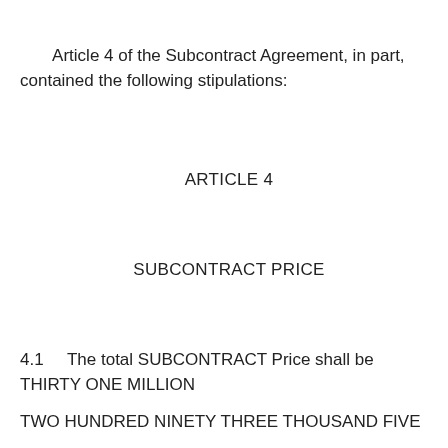Article 4 of the Subcontract Agreement, in part, contained the following stipulations:
ARTICLE 4
SUBCONTRACT PRICE
4.1    The total SUBCONTRACT Price shall be THIRTY ONE MILLION
TWO HUNDRED NINETY THREE THOUSAND FIVE